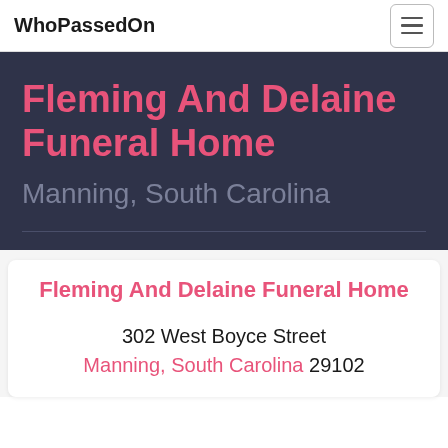WhoPassedOn
Fleming And Delaine Funeral Home
Manning, South Carolina
Fleming And Delaine Funeral Home
302 West Boyce Street
Manning, South Carolina 29102